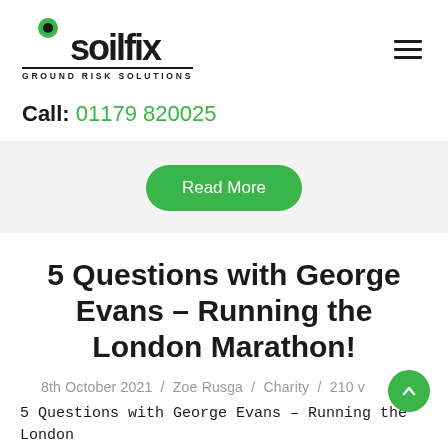soilfix GROUND RISK SOLUTIONS
Call: 01179 820025
Read More
5 Questions with George Evans – Running the London Marathon!
8th October 2021 / Zoe Rusga / Charity / 210 v
5 Questions with George Evans – Running the London